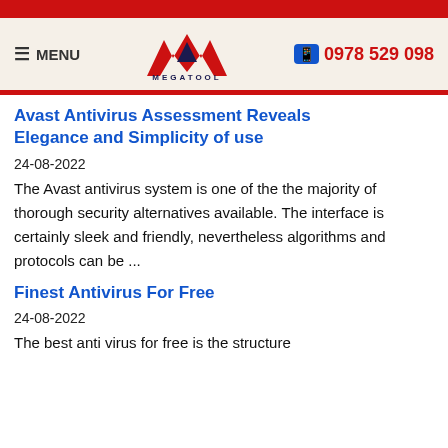[Figure (logo): Megatool logo with red/navy M shape and MEGATOOL text]
Avast Antivirus Assessment Reveals Elegance and Simplicity of use
24-08-2022
The Avast antivirus system is one of the the majority of thorough security alternatives available. The interface is certainly sleek and friendly, nevertheless algorithms and protocols can be ...
Finest Antivirus For Free
24-08-2022
The best anti virus for free is the structure